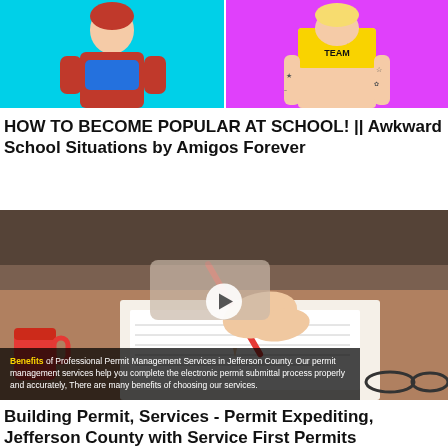[Figure (photo): Two side-by-side thumbnail images: left shows a person in a red and blue outfit on a cyan background; right shows a tattooed person in a yellow 'NICE TEAM' crop top on a magenta/pink background.]
HOW TO BECOME POPULAR AT SCHOOL! || Awkward School Situations by Amigos Forever
[Figure (photo): Video thumbnail showing hands writing with a red pen on paper, a red coffee mug on the left, glasses on the right, with a play button overlay and text overlay reading: 'Benefits of Professional Permit Management Services in Jefferson County. Our permit management services help you complete the electronic permit submittal process properly and accurately, There are many benefits of choosing our services.']
Building Permit, Services - Permit Expediting, Jefferson County with Service First Permits